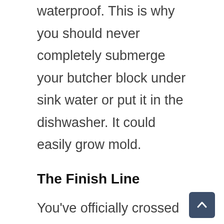waterproof. This is why you should never completely submerge your butcher block under sink water or put it in the dishwasher. It could easily grow mold.
The Finish Line
You've officially crossed the finish line and become an expert on all the best butcher block sealer options! We've discussed what butcher block sealants are and why they're